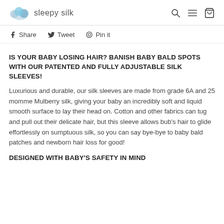sleepy silk
Share  Tweet  Pin it
IS YOUR BABY LOSING HAIR? BANISH BABY BALD SPOTS WITH OUR PATENTED AND FULLY ADJUSTABLE SILK SLEEVES!
Luxurious and durable, our silk sleeves are made from grade 6A and 25 momme Mulberry silk, giving your baby an incredibly soft and liquid smooth surface to lay their head on. Cotton and other fabrics can tug and pull out their delicate hair, but this sleeve allows bub's hair to glide effortlessly on sumptuous silk, so you can say bye-bye to baby bald patches and newborn hair loss for good!
DESIGNED WITH BABY'S SAFETY IN MIND